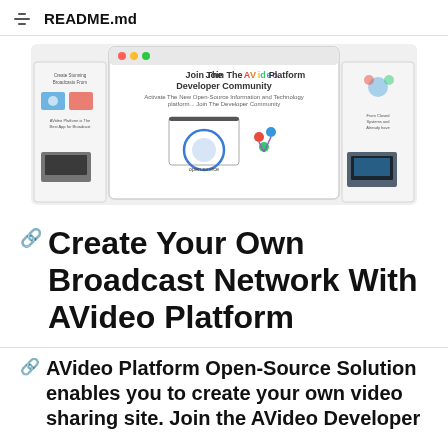README.md
[Figure (screenshot): Banner image showing AVideo Platform developer community with multiple slides: colorful AVideo logo, open source laptop, people community graphic, and feature panels]
Create Your Own Broadcast Network With AVideo Platform
AVideo Platform Open-Source Solution enables you to create your own video sharing site. Join the AVideo Developer